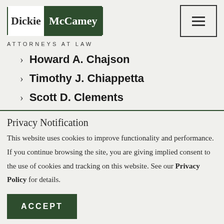Dickie McCamey | ATTORNEYS AT LAW
Howard A. Chajson
Timothy J. Chiappetta
Scott D. Clements
Privacy Notification
This website uses cookies to improve functionality and performance. If you continue browsing the site, you are giving implied consent to the use of cookies and tracking on this website. See our Privacy Policy for details.
ACCEPT